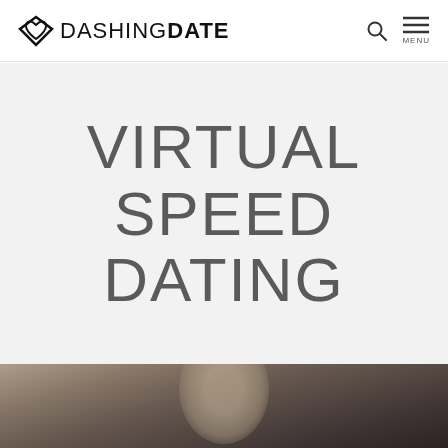DASHING DATE — logo with navigation (search icon, menu icon)
VIRTUAL SPEED DATING
[Figure (photo): Bottom portion of the page showing a blurred photograph of a person, cropped at the top, with soft bokeh background tones of brown and grey]